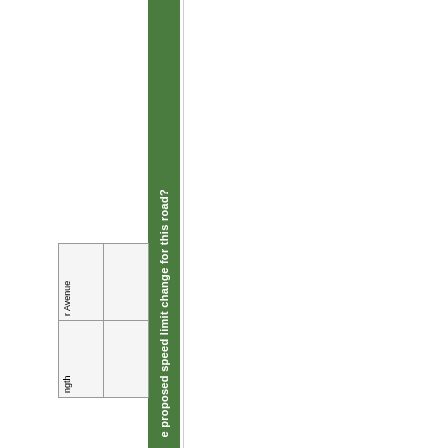[Figure (other): Vertical green bar/column running full height of page, containing rotated white bold text reading 'e proposed speed limit change for this road?']
| r Avenue |  |
| ngth |  |